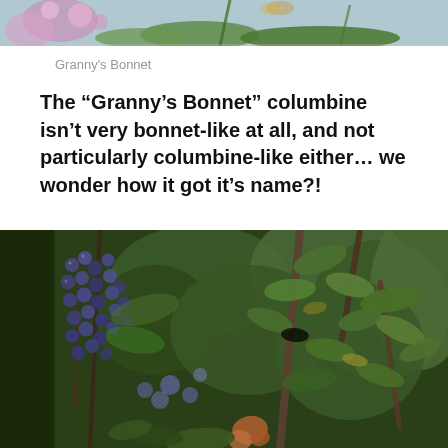[Figure (photo): Top portion of a floral/garden photograph showing colorful flowers and green foliage, cropped at the top of the page]
Granny's Bonnet
The “Granny’s Bonnet” columbine isn’t very bonnet-like at all, and not particularly columbine-like either… we wonder how it got it’s name?!
[Figure (photo): Photograph of a garden scene showing clusters of small dark blue/purple berries among green leafy branches and stems, with purple columbine flowers visible in the background]